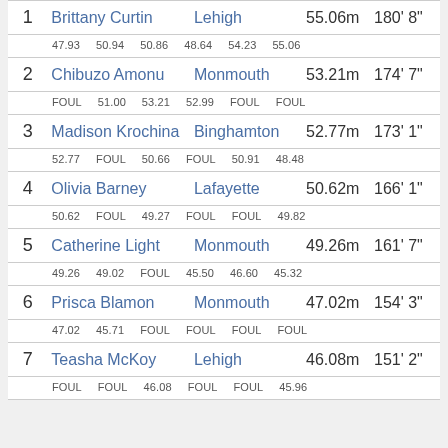| # | Name | School | Distance (m) | Distance (ft) |
| --- | --- | --- | --- | --- |
| 1 | Brittany Curtin | Lehigh | 55.06m | 180' 8" |
|  | 47.93  50.94  50.86  48.64  54.23  55.06 |  |  |  |
| 2 | Chibuzo Amonu | Monmouth | 53.21m | 174' 7" |
|  | FOUL  51.00  53.21  52.99  FOUL  FOUL |  |  |  |
| 3 | Madison Krochina | Binghamton | 52.77m | 173' 1" |
|  | 52.77  FOUL  50.66  FOUL  50.91  48.48 |  |  |  |
| 4 | Olivia Barney | Lafayette | 50.62m | 166' 1" |
|  | 50.62  FOUL  49.27  FOUL  FOUL  49.82 |  |  |  |
| 5 | Catherine Light | Monmouth | 49.26m | 161' 7" |
|  | 49.26  49.02  FOUL  45.50  46.60  45.32 |  |  |  |
| 6 | Prisca Blamon | Monmouth | 47.02m | 154' 3" |
|  | 47.02  45.71  FOUL  FOUL  FOUL  FOUL |  |  |  |
| 7 | Teasha McKoy | Lehigh | 46.08m | 151' 2" |
|  | FOUL  FOUL  46.08  FOUL  FOUL  45.96 |  |  |  |